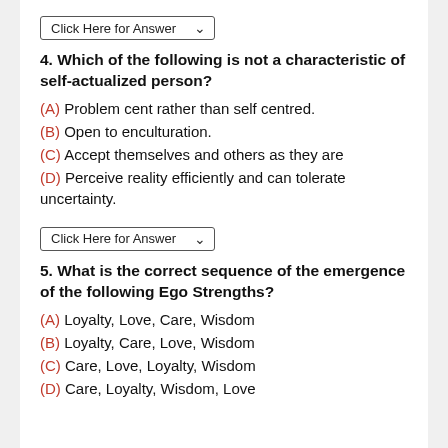[Figure (other): Dropdown button labeled 'Click Here for Answer']
4. Which of the following is not a characteristic of self-actualized person?
(A) Problem cent rather than self centred.
(B) Open to enculturation.
(C) Accept themselves and others as they are
(D) Perceive reality efficiently and can tolerate uncertainty.
[Figure (other): Dropdown button labeled 'Click Here for Answer']
5. What is the correct sequence of the emergence of the following Ego Strengths?
(A) Loyalty, Love, Care, Wisdom
(B) Loyalty, Care, Love, Wisdom
(C) Care, Love, Loyalty, Wisdom
(D) Care, Loyalty, Wisdom, Love